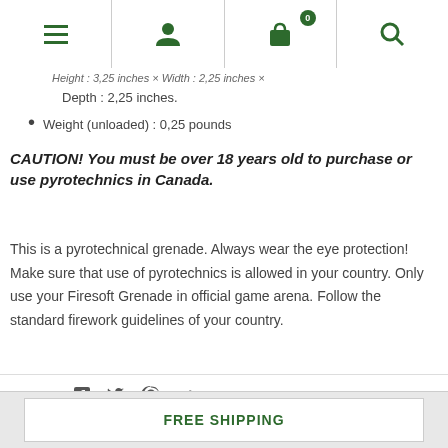Navigation bar with menu, user, cart (0), search icons
Height : 3,25 inches × Width : 2,25 inches × Depth : 2,25 inches.
Weight (unloaded)  : 0,25 pounds
CAUTION! You must be over 18 years old to purchase or use pyrotechnics in Canada.
This is a pyrotechnical grenade. Always wear the eye protection! Make sure that use of pyrotechnics is allowed in your country. Only use your Firesoft Grenade in official game arena. Follow the standard firework guidelines of your country.
SHARE
FREE SHIPPING